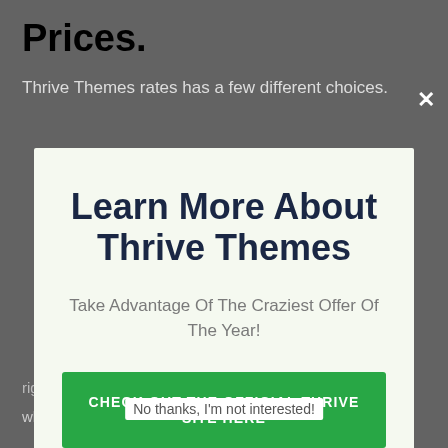Prices.
Thrive Themes rates has a few different choices.
[Figure (screenshot): Modal popup with close X button, title 'Learn More About Thrive Themes', subtitle 'Take Advantage Of The Craziest Offer Of The Year!', green CTA button 'CHECK OUT THE OFFICIAL THRIVE SITE HERE']
No thanks, I'm not interested!
whatever for simply paying yearly.